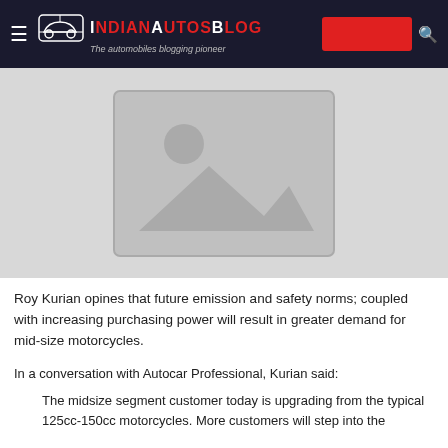IndianAutosBlog – The automobiles blogging pioneer
[Figure (photo): Placeholder image with mountain/landscape icon on grey background]
Roy Kurian opines that future emission and safety norms; coupled with increasing purchasing power will result in greater demand for mid-size motorcycles.
In a conversation with Autocar Professional, Kurian said:
The midsize segment customer today is upgrading from the typical 125cc-150cc motorcycles. More customers will step into the